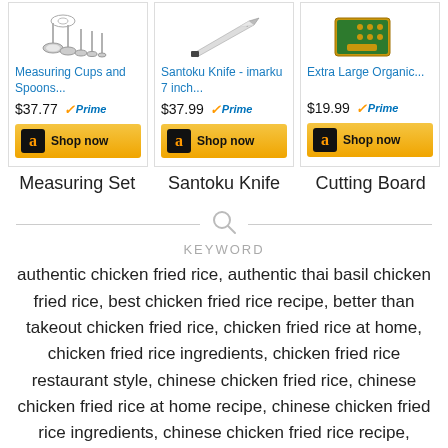[Figure (screenshot): Three Amazon product cards showing Measuring Cups and Spoons ($37.77), Santoku Knife ($37.99), and Extra Large Organic... ($19.99), each with Prime badge and Shop now button]
Measuring Set
Santoku Knife
Cutting Board
[Figure (other): Search icon with horizontal divider lines on each side]
KEYWORD
authentic chicken fried rice, authentic thai basil chicken fried rice, best chicken fried rice recipe, better than takeout chicken fried rice, chicken fried rice at home, chicken fried rice ingredients, chicken fried rice restaurant style, chinese chicken fried rice, chinese chicken fried rice at home recipe, chinese chicken fried rice ingredients, chinese chicken fried rice recipe, chinese chicken fried rice recipe with egg, chinese chicken fried rice restaurant style, how